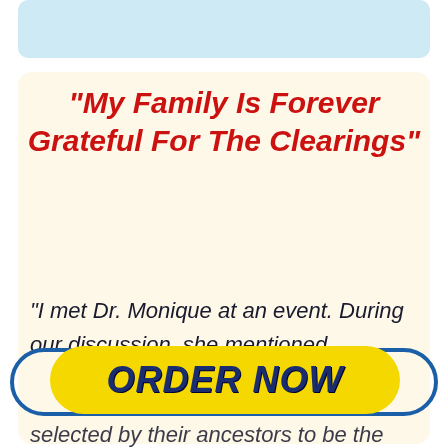[Figure (other): Light blue rounded rectangle at top of page]
“My Family Is Forever Grateful For The Clearings”
“I met Dr. Monique at an event. During our discussion, she mentioned
[Figure (other): ORDER NOW button - yellow pill-shaped button with dark blue bold italic text, overlaid on a blue oval outline]
selected by their ancestors to be the family healer to